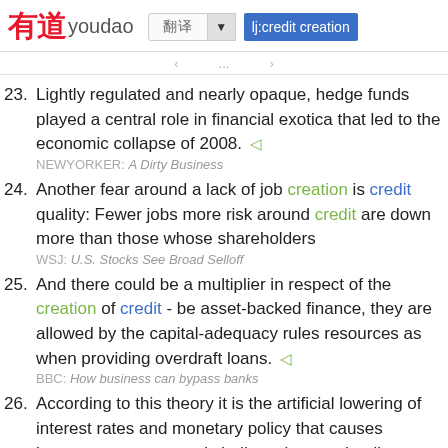有道 youdao | 翻译 ▼ | lj:credit creation
23. Lightly regulated and nearly opaque, hedge funds played a central role in financial exotica that led to the economic collapse of 2008. ◁
NEWYORKER: A Dirty Business
24. Another fear around a lack of job creation is credit quality: Fewer jobs more risk around credit are down more than those whose shareholders...
WSJ: U.S. Stocks See Broad Selloff
25. And there could be a multiplier in respect of the creation of credit - be asset-backed finance, they are allowed by the capital-adequacy rules resources as when providing overdraft loans. ◁
BBC: How business can bypass banks
26. According to this theory it is the artificial lowering of interest rates and monetary policy that causes investors to erroneously believe that economic leading to an abundance of overconfidence. ◁